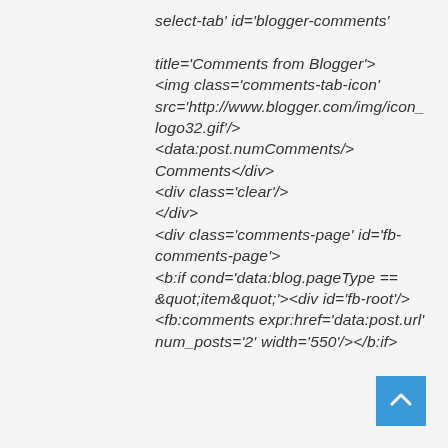select-tab' id='blogger-comments' onclick='javascript:commentToggle(&quot;#blogger-comments&quot;);' title='Comments from Blogger'> <img class='comments-tab-icon' src='http://www.blogger.com/img/icon_logo32.gif'/> <data:post.numComments/> Comments</div> <div class='clear'/> </div> <div class='comments-page' id='fb-comments-page'> <b:if cond='data:blog.pageType == &quot;item&quot;'><div id='fb-root'/> <fb:comments expr:href='data:post.url' num_posts='2' width='550'/></b:if>